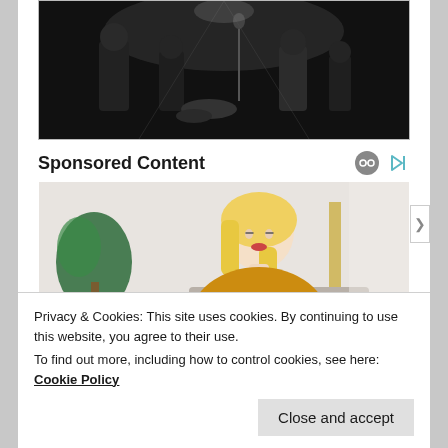[Figure (photo): Black and white photo of musicians performing on stage]
Sponsored Content
[Figure (photo): Color photo of a blonde woman in a yellow sweater looking down, writing]
Privacy & Cookies: This site uses cookies. By continuing to use this website, you agree to their use.
To find out more, including how to control cookies, see here: Cookie Policy
Close and accept